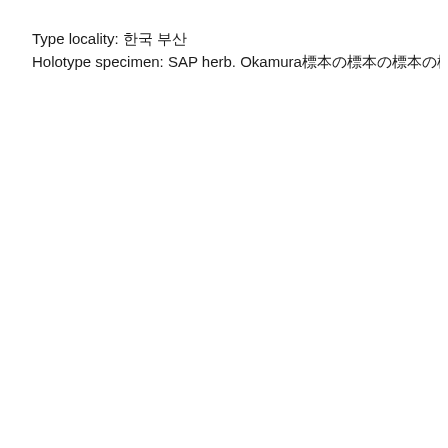Type locality: 한국 부산
Holotype specimen: SAP herb. Okamura標本의標本의標本의標本의標本의標本의